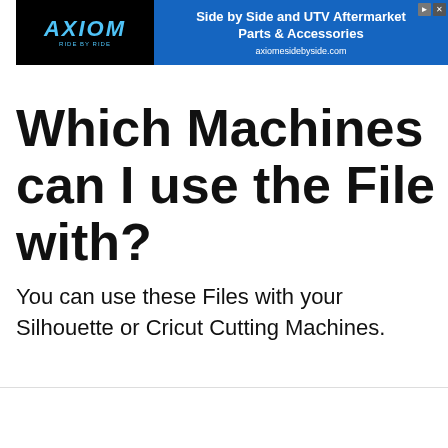[Figure (other): Axiom Side by Side advertisement banner with logo and blue background. Text: 'Side by Side and UTV Aftermarket Parts & Accessories' and 'axiomesidebyside.com']
Which Machines can I use the File with?
You can use these Files with your Silhouette or Cricut Cutting Machines.